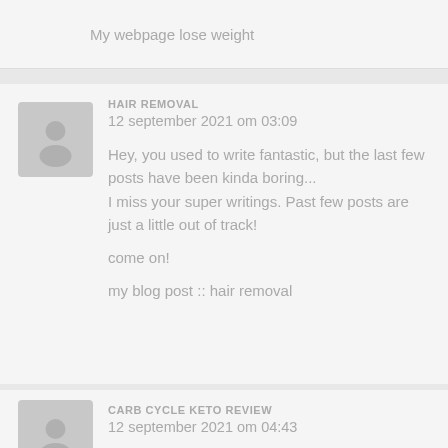My webpage lose weight
HAIR REMOVAL
12 september 2021 om 03:09
Hey, you used to write fantastic, but the last few posts have been kinda boring... I miss your super writings. Past few posts are just a little out of track!
come on!
my blog post :: hair removal
CARB CYCLE KETO REVIEW
12 september 2021 om 04:43